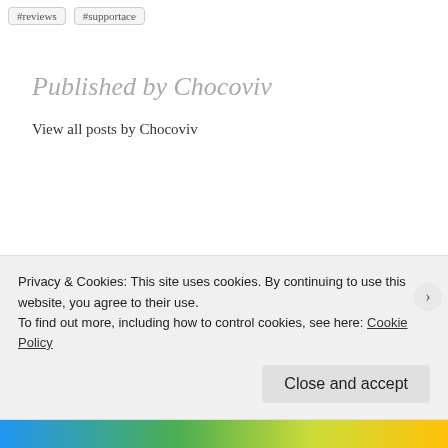#reviews #supportace
Published by Chocoviv
View all posts by Chocoviv
PREVIOUS: Travel Feature Reblog: Sooke, British Columbia
Privacy & Cookies: This site uses cookies. By continuing to use this website, you agree to their use.
To find out more, including how to control cookies, see here: Cookie Policy
Close and accept